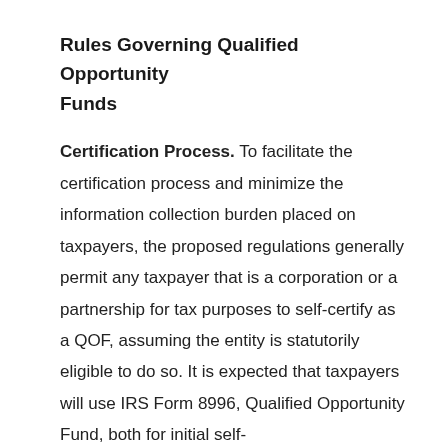Rules Governing Qualified Opportunity Funds
Certification Process. To facilitate the certification process and minimize the information collection burden placed on taxpayers, the proposed regulations generally permit any taxpayer that is a corporation or a partnership for tax purposes to self-certify as a QOF, assuming the entity is statutorily eligible to do so. It is expected that taxpayers will use IRS Form 8996, Qualified Opportunity Fund, both for initial self-